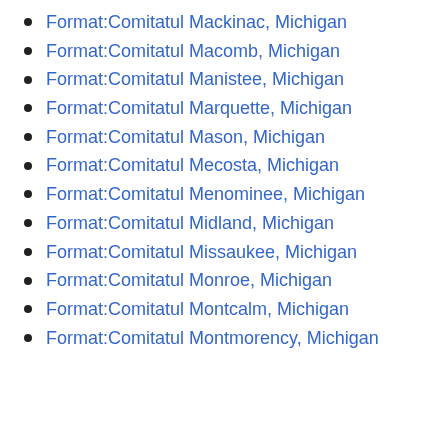Format:Comitatul Mackinac, Michigan
Format:Comitatul Macomb, Michigan
Format:Comitatul Manistee, Michigan
Format:Comitatul Marquette, Michigan
Format:Comitatul Mason, Michigan
Format:Comitatul Mecosta, Michigan
Format:Comitatul Menominee, Michigan
Format:Comitatul Midland, Michigan
Format:Comitatul Missaukee, Michigan
Format:Comitatul Monroe, Michigan
Format:Comitatul Montcalm, Michigan
Format:Comitatul Montmorency, Michigan